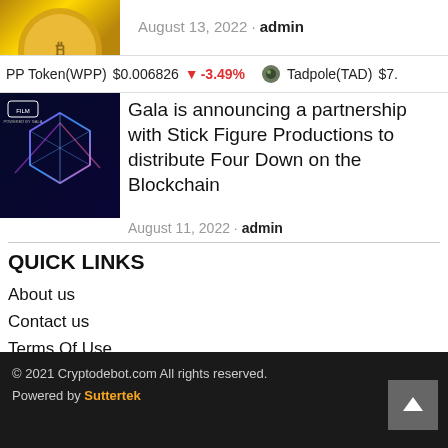August 13, 2022 · admin
PP Token(WPP) $0.006826 -3.49% Tadpole(TAD) $7.2
[Figure (photo): Thumbnail image with neon blue geometric 3D shape with FILM and Gala logos on dark blue background]
Gala is announcing a partnership with Stick Figure Productions to distribute Four Down on the Blockchain
August 11, 2022 · admin
QUICK LINKS
About us
Contact us
Terms Of Use
Privacy Policy
© 2021 Cryptodebot.com All rights reserved. Powered by Suttertek